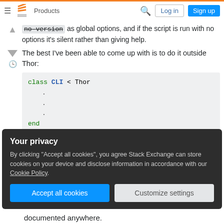Stack Overflow — Products | Log in | Sign up
no-version as global options, and if the script is run with no options it's silent rather than giving help.
The best I've been able to come up with is to do it outside Thor:
[Figure (screenshot): Code block showing Ruby code: class CLI < Thor ... end   if ARGV[0] == "--version"]
Your privacy
By clicking "Accept all cookies", you agree Stack Exchange can store cookies on your device and disclose information in accordance with our Cookie Policy.
Accept all cookies   Customize settings
documented anywhere.